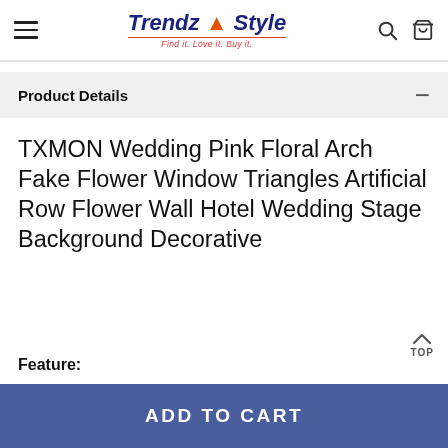Trendz & Style — Find it. Love it. Buy it.
Product Details
TXMON Wedding Pink Floral Arch Fake Flower Window Triangles Artificial Row Flower Wall Hotel Wedding Stage Background Decorative
Feature:
ADD TO CART